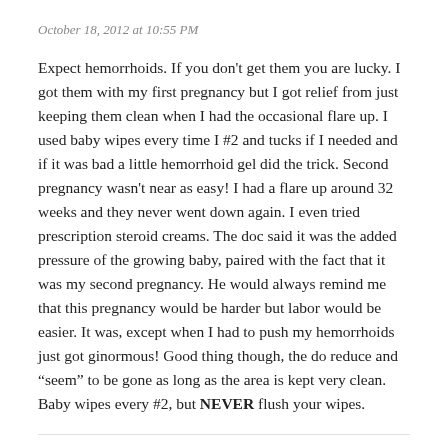October 18, 2012 at 10:55 PM
Expect hemorrhoids. If you don't get them you are lucky. I got them with my first pregnancy but I got relief from just keeping them clean when I had the occasional flare up. I used baby wipes every time I #2 and tucks if I needed and if it was bad a little hemorrhoid gel did the trick. Second pregnancy wasn't near as easy! I had a flare up around 32 weeks and they never went down again. I even tried prescription steroid creams. The doc said it was the added pressure of the growing baby, paired with the fact that it was my second pregnancy. He would always remind me that this pregnancy would be harder but labor would be easier. It was, except when I had to push my hemorrhoids just got ginormous! Good thing though, the do reduce and “seem” to be gone as long as the area is kept very clean. Baby wipes every #2, but NEVER flush your wipes.
INGE